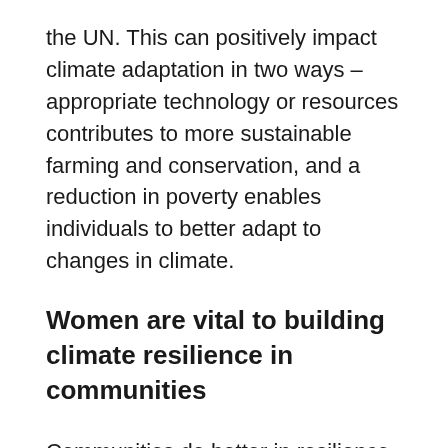the UN. This can positively impact climate adaptation in two ways – appropriate technology or resources contributes to more sustainable farming and conservation, and a reduction in poverty enables individuals to better adapt to changes in climate.
Women are vital to building climate resilience in communities
Communities do better in resilience and capacity-building strategies when women are also involved in planning. According to the UN, women tend to share information about community wellbeing that is important for